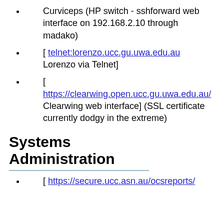Curviceps (HP switch - sshforward web interface on 192.168.2.10 through madako)
[ telnet:lorenzo.ucc.gu.uwa.edu.au Lorenzo via Telnet]
[ https://clearwing.open.ucc.gu.uwa.edu.au/ Clearwing web interface] (SSL certificate currently dodgy in the extreme)
Systems Administration
[ https://secure.ucc.asn.au/ocsreports/